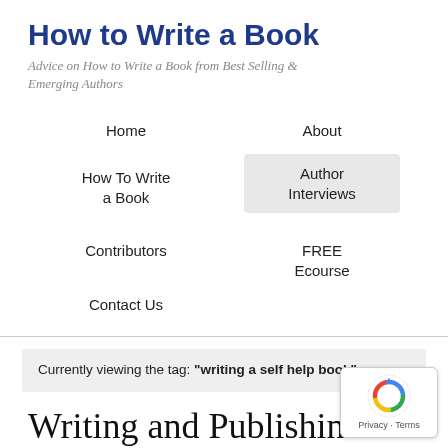How to Write a Book
Advice on How to Write a Book from Best Selling & Emerging Authors
Home
About
How To Write a Book
Author Interviews
Contributors
FREE Ecourse
Contact Us
Currently viewing the tag: "writing a self help book"
Writing and Publishing